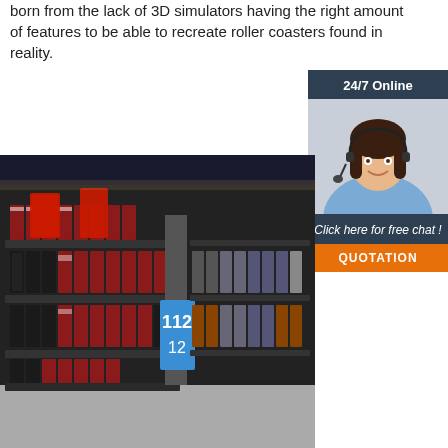born from the lack of 3D simulators having the right amount of features to be able to recreate roller coasters found in reality.
Get Price
[Figure (photo): Customer support agent with headset, smiling, with '24/7 Online' header, 'Click here for free chat!' text, and orange QUOTATION button]
[Figure (photo): Interior of a retail store with shelves stocked with Chinese liquor bottles (Moutai style), red and white packaging, price tags, a blue sign showing '112/12']